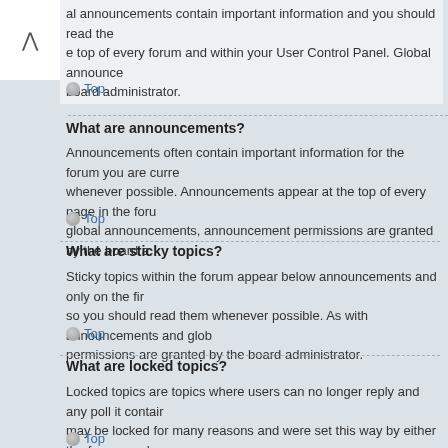al announcements contain important information and you should read them at the top of every forum and within your User Control Panel. Global announcements board administrator.
Top
What are announcements?
Announcements often contain important information for the forum you are currently reading and you should read them whenever possible. Announcements appear at the top of every page in the forum to which they are posted. As with global announcements, announcement permissions are granted by the board administrator.
Top
What are sticky topics?
Sticky topics within the forum appear below announcements and only on the first page. They are often quite important so you should read them whenever possible. As with announcements and global announcements, sticky topic permissions are granted by the board administrator.
Top
What are locked topics?
Locked topics are topics where users can no longer reply and any poll it contains was automatically ended. Topics may be locked for many reasons and were set this way by either the forum moderator or board administrator. You may also be able to lock your own topics depending on the permissions you are granted by the board administrator.
Top
What are topic icons?
Topic icons are author chosen images associated with posts to indicate their content.